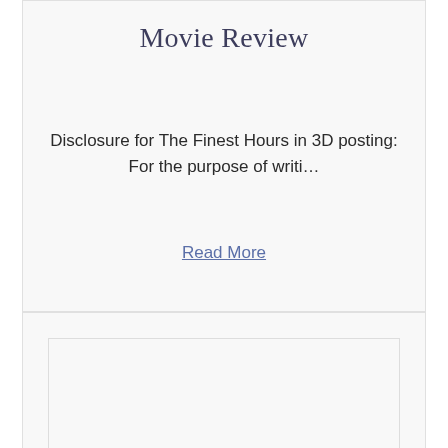Movie Review
Disclosure for The Finest Hours in 3D posting:  For the purpose of writi…
Read More
[Figure (other): Blank card or image placeholder box in the lower portion of the page]